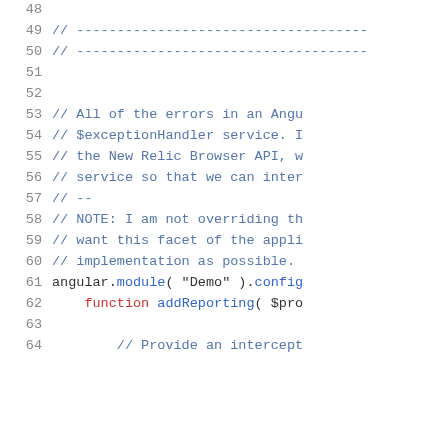[Figure (screenshot): Code editor screenshot showing JavaScript/AngularJS source code lines 48-64. Line numbers on left in gray, code content on right with syntax highlighting: comments in blue, keywords in red, method calls in blue, normal code in dark/black.]